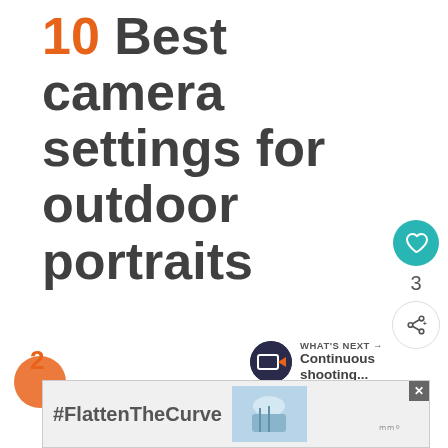10 Best camera settings for outdoor portraits
[Figure (infographic): Social panel with heart/like button showing count of 3, and share button]
[Figure (infographic): What's Next panel with Camera Jabber logo and text 'Continuous shooting...']
2
[Figure (infographic): Advertisement banner with #FlattenTheCurve hashtag and handwashing image]